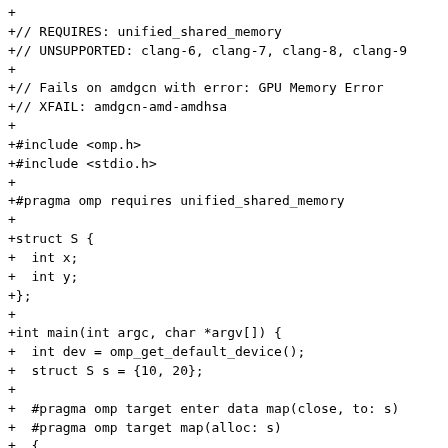+
+// REQUIRES: unified_shared_memory
+// UNSUPPORTED: clang-6, clang-7, clang-8, clang-9
+
+// Fails on amdgcn with error: GPU Memory Error
+// XFAIL: amdgcn-amd-amdhsa
+
+#include <omp.h>
+#include <stdio.h>
+
+#pragma omp requires unified_shared_memory
+
+struct S {
+  int x;
+  int y;
+};
+
+int main(int argc, char *argv[]) {
+  int dev = omp_get_default_device();
+  struct S s = {10, 20};
+
+  #pragma omp target enter data map(close, to: s)
+  #pragma omp target map(alloc: s)
+  {
+    s.x = 11;
+    s.y = 21;
+  }
+  // To determine whether x needs to be transfered or deleted, the runtime
+  // cannot simply check whether unified shared memory
+  // is enabled.